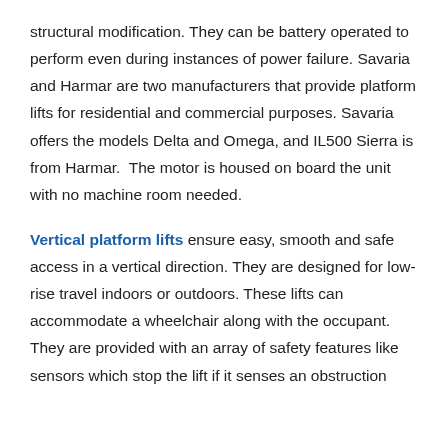structural modification. They can be battery operated to perform even during instances of power failure. Savaria and Harmar are two manufacturers that provide platform lifts for residential and commercial purposes. Savaria offers the models Delta and Omega, and IL500 Sierra is from Harmar. The motor is housed on board the unit with no machine room needed.
Vertical platform lifts ensure easy, smooth and safe access in a vertical direction. They are designed for low-rise travel indoors or outdoors. These lifts can accommodate a wheelchair along with the occupant. They are provided with an array of safety features like sensors which stop the lift if it senses an obstruction